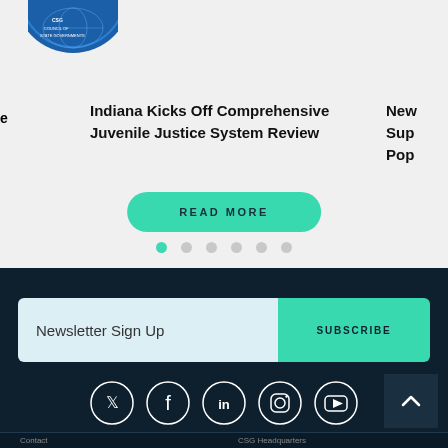[Figure (logo): Partial blue circular logo/seal in top-left corner]
Indiana Kicks Off Comprehensive Juvenile Justice System Review
New... Sup... Pop... (partially visible text on right)
READ MORE
[Figure (other): Pagination dots — first dot active (teal), five remaining dots gray]
Newsletter Sign Up
SUBSCRIBE
[Figure (other): Social media icons in white circles: Twitter, Facebook, LinkedIn, Instagram, YouTube]
Contact
CSG Headquarters